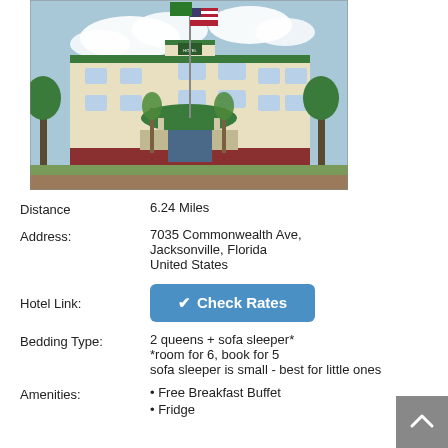[Figure (photo): Exterior photo of a hotel building (Country Inn & Suites or similar) with American flag and green flag on flagpoles, palm trees, covered entrance, cream/beige facade with green roof trim, blue sky with clouds in background.]
Distance	6.24 Miles
Address:	7035 Commonwealth Ave, Jacksonville, Florida United States
Hotel Link:	Check Rates
Bedding Type:	2 queens + sofa sleeper*
*room for 6, book for 5
sofa sleeper is small - best for little ones
• Free Breakfast Buffet
• Fridge